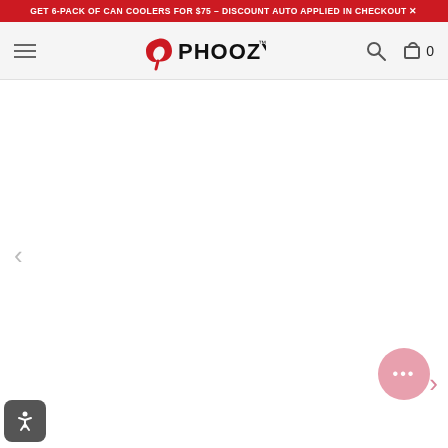GET 6-PACK OF CAN COOLERS FOR $75 – DISCOUNT AUTO APPLIED IN CHECKOUT ✕
[Figure (logo): PHOOZY brand logo with red swoosh icon and black text]
[Figure (screenshot): White product page area with left navigation arrow, right navigation arrow (pink), chat bubble button (pink circle with ellipsis), and accessibility button (dark rounded square with person icon) in bottom corners]